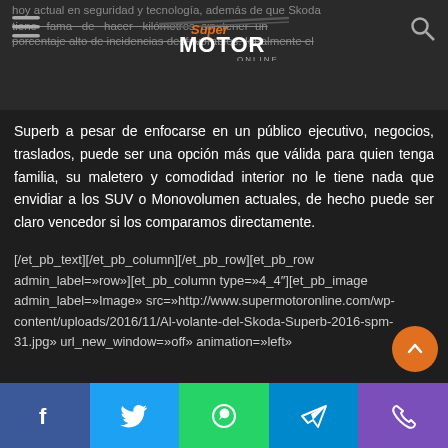hoy actual en seguridad y tecnología, además de que Skoda tiene fama de hacer kilómetros sin tener un porcentaje alto de incidencias desfavorables. Igualmente el
[Figure (logo): SuperMOTOR Online logo — text logo with orange accent color and swoosh graphic]
Superb a pesar de enfocarse en un público ejecutivo, negocios, traslados, puede ser una opción más que válida para quien tenga familia, su maletero y comodidad interior no le tiene nada que envidiar a los SUV o Monovolumen actuales, de hecho puede ser claro vencedor si los comparamos directamente.
[/et_pb_text][/et_pb_column][/et_pb_row][et_pb_row admin_label=»row»][et_pb_column type=»4_4″][et_pb_image admin_label=»Image» src=»http://www.supermotoronline.com/wp-content/uploads/2016/11/Al-volante-del-Skoda-Superb-2016-spm-31.jpg» url_new_window=»off» animation=»left»
Facebook | Twitter | WhatsApp | Telegram | Phone